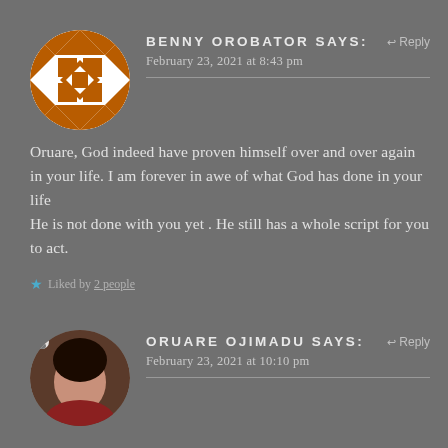[Figure (illustration): Circular avatar with orange and white geometric/diamond pattern]
BENNY OROBATOR says:
↩ Reply
February 23, 2021 at 8:43 pm
Oruare, God indeed have proven himself over and over again in your life. I am forever in awe of what God has done in your life
He is not done with you yet . He still has a whole script for you to act.
★ Liked by 2 people
[Figure (photo): Circular profile photo of a woman]
ORUARE OJIMADU says:
↩ Reply
February 23, 2021 at 10:10 pm